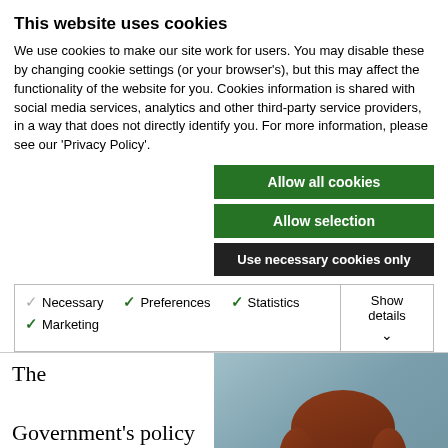This website uses cookies
We use cookies to make our site work for users. You may disable these by changing cookie settings (or your browser's), but this may affect the functionality of the website for you. Cookies information is shared with social media services, analytics and other third-party service providers, in a way that does not directly identify you. For more information, please see our 'Privacy Policy'.
Allow all cookies
Allow selection
Use necessary cookies only
Necessary  Preferences  Statistics  Marketing  Show details
The Government's policy to ban 'below cost' sales of alcohol has been dismissed as